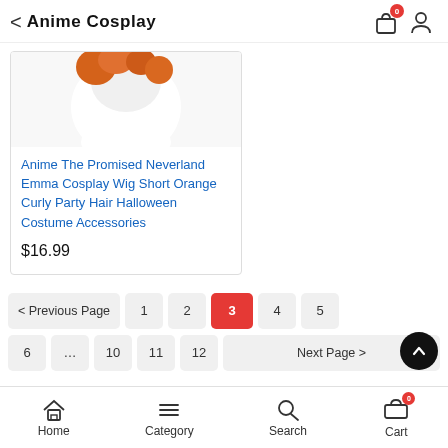< Anime Cosplay
[Figure (photo): Product image showing a short orange curly wig on a white mannequin head, partially cropped at top]
Anime The Promised Neverland Emma Cosplay Wig Short Orange Curly Party Hair Halloween Costume Accessories
$16.99
< Previous Page   1   2   3   4   5
6   ...   10   11   12   Next Page >
Home   Category   Search   Cart